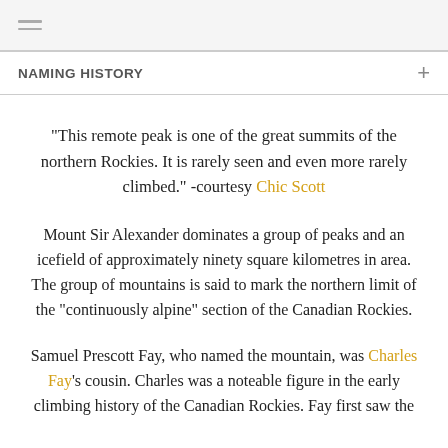NAMING HISTORY
"This remote peak is one of the great summits of the northern Rockies. It is rarely seen and even more rarely climbed." -courtesy Chic Scott
Mount Sir Alexander dominates a group of peaks and an icefield of approximately ninety square kilometres in area. The group of mountains is said to mark the northern limit of the "continuously alpine" section of the Canadian Rockies.
Samuel Prescott Fay, who named the mountain, was Charles Fay's cousin. Charles was a noteable figure in the early climbing history of the Canadian Rockies. Fay first saw the